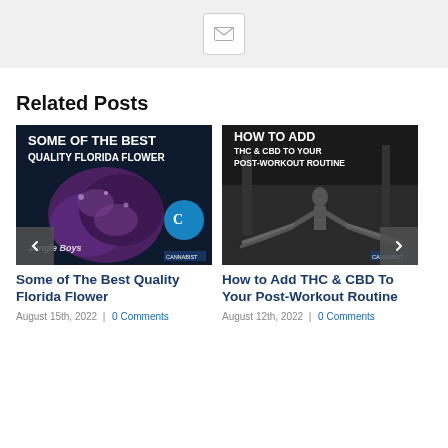[Figure (other): Top banner with grey background and an email/envelope icon button in the center]
Related Posts
[Figure (photo): Cannabis flower image with text overlay: SOME OF THE BEST QUALITY FLORIDA FLOWER, with Jungle Boys and Cookies branding logos]
Some of The Best Quality Florida Flower
August 15th, 2022  |  0 Comments
[Figure (photo): Black and white photo of a person doing battle ropes workout in a gym with text overlay: HOW TO ADD THC & CBD TO YOUR POST-WORKOUT ROUTINE]
How to Add THC & CBD To Your Post-Workout Routine
August 12th, 2022  |  0 Comments